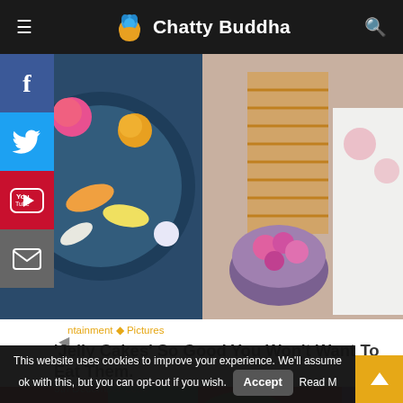Chatty Buddha
[Figure (photo): Two decorative jelly cakes: one on the left showing koi fish and flowers in a dark blue/teal jelly, one on the right showing pink roses in a bowl held by a woman in a floral top]
ntainment  ◇  Pictures
Jelly Cakes' So Good You Won't Want To Eat Them.
5th December 2018
[Figure (photo): Partial image of a jelly cake on a blue/green background]
This website uses cookies to improve your experience. We'll assume ok with this, but you can opt-out if you wish.  Accept  Read M